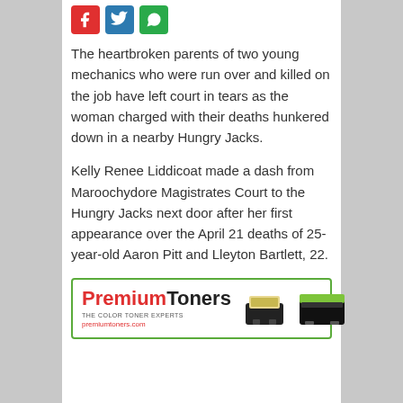[Figure (other): Social media share icons: red Facebook, blue Twitter, green WhatsApp]
The heartbroken parents of two young mechanics who were run over and killed on the job have left court in tears as the woman charged with their deaths hunkered down in a nearby Hungry Jacks.
Kelly Renee Liddicoat made a dash from Maroochydore Magistrates Court to the Hungry Jacks next door after her first appearance over the April 21 deaths of 25-year-old Aaron Pitt and Lleyton Bartlett, 22.
[Figure (other): PremiumToners advertisement banner with logo and toner cartridge product images. Text: PremiumToners THE COLOR TONER EXPERTS premiumtoners.com]